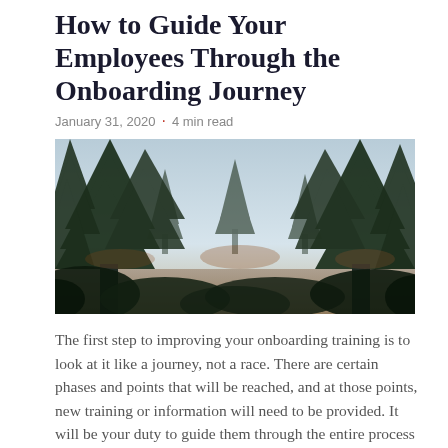How to Guide Your Employees Through the Onboarding Journey
January 31, 2020 · 4 min read
[Figure (photo): Forest of tall pine trees against a light sky, dark silhouette landscape photo]
The first step to improving your onboarding training is to look at it like a journey, not a race. There are certain phases and points that will be reached, and at those points, new training or information will need to be provided. It will be your duty to guide them through the entire process and [...]
CONTINUE READING